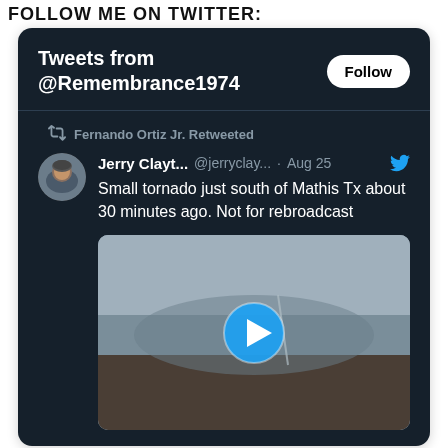FOLLOW ME ON TWITTER:
[Figure (screenshot): Twitter widget showing tweets from @Remembrance1974. Contains a retweet by Fernando Ortiz Jr. of a tweet by Jerry Clayt... @jerryclay... on Aug 25 reading 'Small tornado just south of Mathis Tx about 30 minutes ago. Not for rebroadcast', with a video thumbnail showing a tornado in cloudy skies with a play button overlay.]